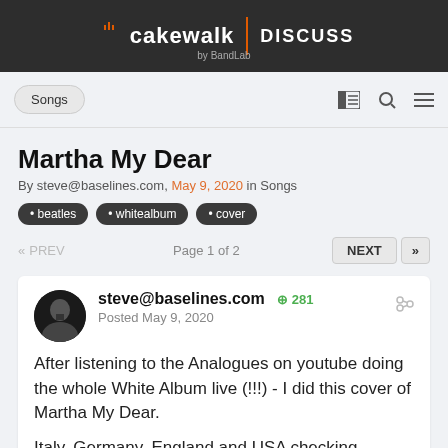cakewalk by BandLab | DISCUSS
Martha My Dear
By steve@baselines.com, May 9, 2020 in Songs
beatles
whitealbum
cover
«  PREV   Page 1 of 2   NEXT  »
steve@baselines.com  +281
Posted May 9, 2020
After listening to the Analogues on youtube doing the whole White Album live (!!!) - I did this cover of Martha My Dear.

Italy, Germany, England and USA checking